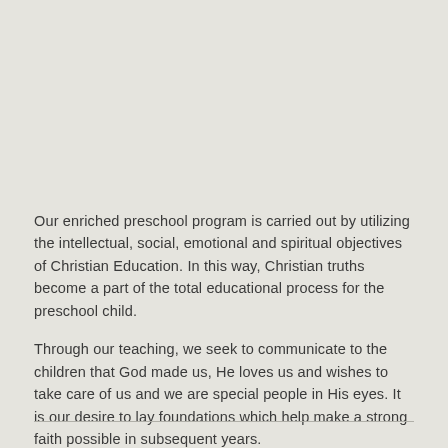Our enriched preschool program is carried out by utilizing the intellectual, social, emotional and spiritual objectives of Christian Education. In this way, Christian truths become a part of the total educational process for the preschool child.
Through our teaching, we seek to communicate to the children that God made us, He loves us and wishes to take care of us and we are special people in His eyes. It is our desire to lay foundations which help make a strong faith possible in subsequent years.